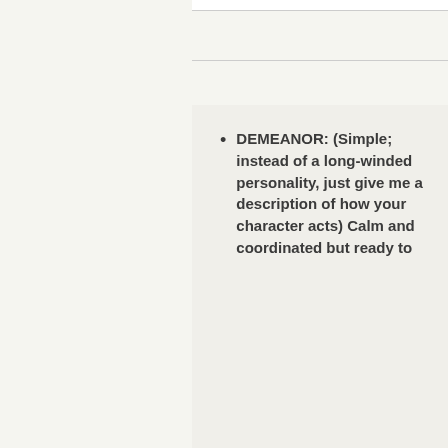DEMEANOR: (Simple; instead of a long-winded personality, just give me a description of how your character acts) Calm and coordinated but ready to